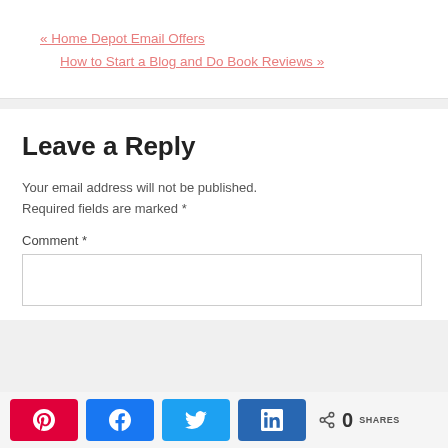« Home Depot Email Offers
How to Start a Blog and Do Book Reviews »
Leave a Reply
Your email address will not be published. Required fields are marked *
Comment *